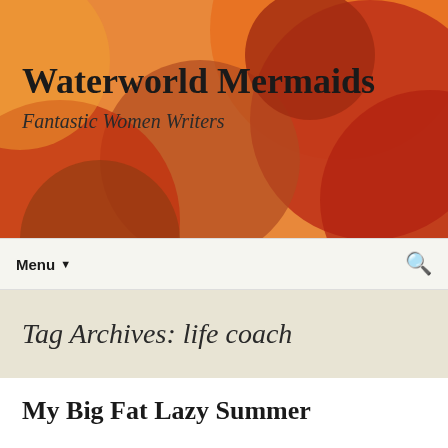[Figure (illustration): Abstract header banner with overlapping orange, red, dark red, and brown circles on an orange/amber background]
Waterworld Mermaids
Fantastic Women Writers
Menu ▼
Tag Archives: life coach
My Big Fat Lazy Summer